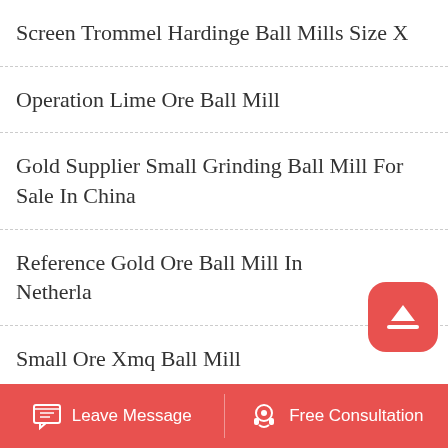Screen Trommel Hardinge Ball Mills Size X
Operation Lime Ore Ball Mill
Gold Supplier Small Grinding Ball Mill For Sale In China
Reference Gold Ore Ball Mill In Netherla
Small Ore Xmq Ball Mill
Copper Tungsten Ore Ball Mill
Crushing Sale Ton Ball Mill
Leave Message   Free Consultation